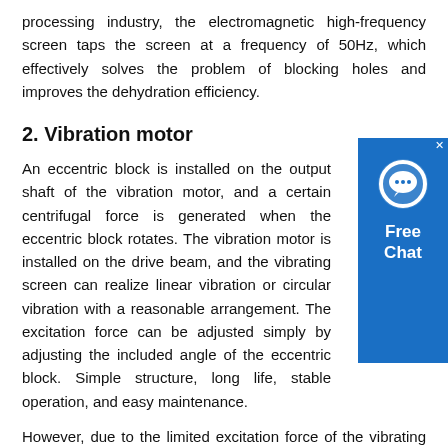processing industry, the electromagnetic high-frequency screen taps the screen at a frequency of 50Hz, which effectively solves the problem of blocking holes and improves the dehydration efficiency.
2. Vibration motor
An eccentric block is installed on the output shaft of the vibration motor, and a certain centrifugal force is generated when the eccentric block rotates. The vibration motor is installed on the drive beam, and the vibrating screen can realize linear vibration or circular vibration with a reasonable arrangement. The excitation force can be adjusted simply by adjusting the included angle of the eccentric block. Simple structure, long life, stable operation, and easy maintenance.
[Figure (other): Blue advertisement box with chat bubble icon and text 'Free Chat']
However, due to the limited excitation force of the vibrating motor, it can only be used on small vibrating screens, generally used for vibrating screens with a mass of not more than 4000kg.
3. Side plate vibration motor
The motor is directly mounted on the side plate of the